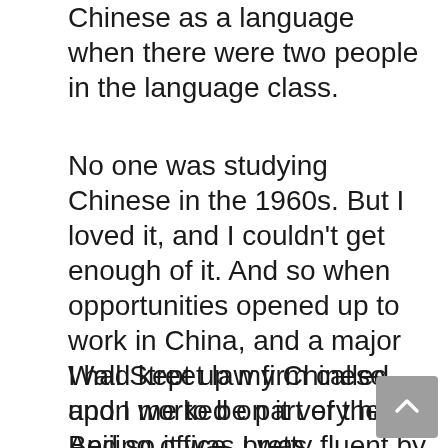Chinese as a language when there were two people in the language class.
No one was studying Chinese in the 1960s. But I loved it, and I couldn't get enough of it. And so when opportunities opened up to work in China, and a major Wall Street law firm called upon me to be part of their Beijing office, I was delighted and of course, I accepted.
I had kept up my Chinese and I worked on it very hard. And so it was pretty fluent by the time I moved to Beijing in 2000. Work there was interesting. It seemed to be part of an environment that was rapidly changing for the better. In the early